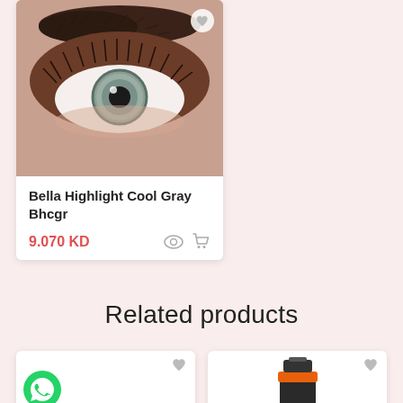[Figure (photo): Close-up photo of an eye with gray colored contact lens, dark eyeshadow, thick lashes and shaped eyebrow. There is a heart/wishlist icon in the top right corner of the image.]
Bella Highlight Cool Gray Bhcgr
9.070 KD
Related products
[Figure (photo): Product card with WhatsApp icon in bottom left and heart icon in top right]
[Figure (photo): Product card showing top of a bottle/container with orange and black cap, with heart icon in top right]